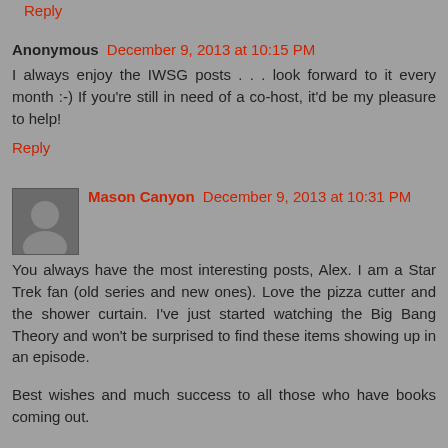Reply
Anonymous  December 9, 2013 at 10:15 PM
I always enjoy the IWSG posts . . . look forward to it every month :-) If you're still in need of a co-host, it'd be my pleasure to help!
Reply
Mason Canyon  December 9, 2013 at 10:31 PM
You always have the most interesting posts, Alex. I am a Star Trek fan (old series and new ones). Love the pizza cutter and the shower curtain. I've just started watching the Big Bang Theory and won't be surprised to find these items showing up in an episode.
Best wishes and much success to all those who have books coming out.
Mason
Thoughts in Progress